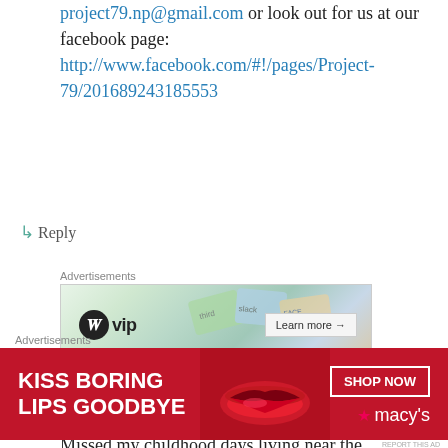project79.np@gmail.com or look out for us at our facebook page: http://www.facebook.com/#!/pages/Project-79/201689243185553
↳ Reply
[Figure (other): WordPress VIP advertisement banner with 'Learn more →' button]
Saravanan (Kanna) on June 30, 2011 at 2:19 pm
Missed my childhood days living near the Railway station and cycling
[Figure (other): Macy's advertisement banner: KISS BORING LIPS GOODBYE with SHOP NOW button and Macy's logo]